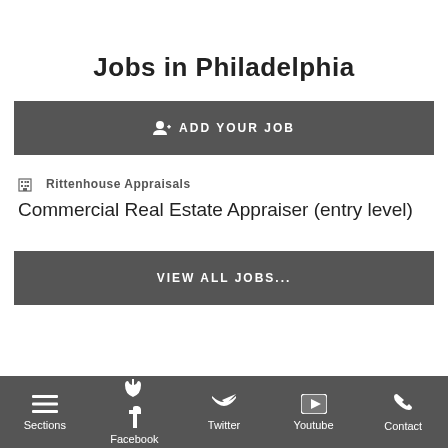Jobs in Philadelphia
ADD YOUR JOB
Rittenhouse Appraisals
Commercial Real Estate Appraiser (entry level)
VIEW ALL JOBS...
Sections   Facebook   Twitter   Youtube   Contact